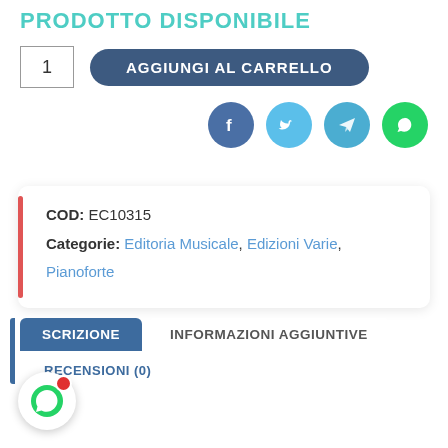PRODOTTO DISPONIBILE
1  AGGIUNGI AL CARRELLO
[Figure (illustration): Social share icons: Facebook (dark blue), Twitter (light blue), Telegram (medium blue), WhatsApp (green)]
COD: EC10315
Categorie: Editoria Musicale, Edizioni Varie, Pianoforte
DESCRIZIONE  INFORMAZIONI AGGIUNTIVE
RECENSIONI (0)